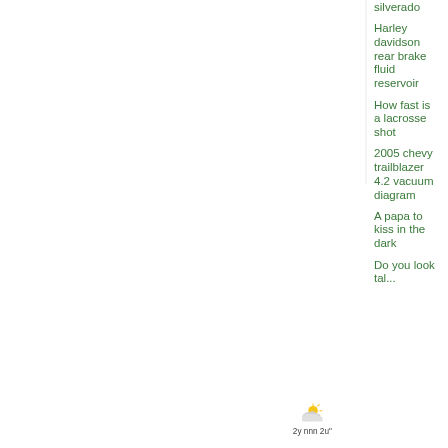silverado
Harley davidson rear brake fluid reservoir
How fast is a lacrosse shot
2005 chevy trailblazer 4.2 vacuum diagram
A papa to kiss in the dark
Do you look tal...
[Figure (illustration): Partly cloudy weather icon with sun and clouds]